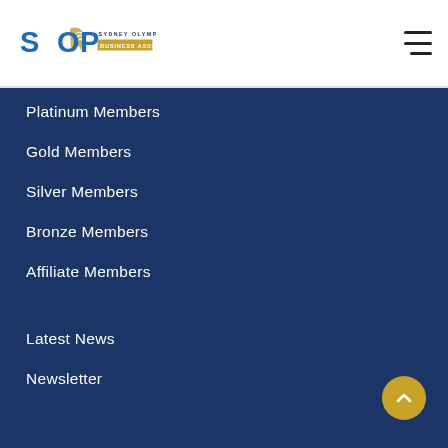[Figure (logo): Sydney Olympic Park Business Association logo with SOP letters in blue and gold flame, and gold banner reading BUSINESS ASSOCIATION]
Platinum Members
Gold Members
Silver Members
Bronze Members
Affiliate Members
Latest News
Newsletter